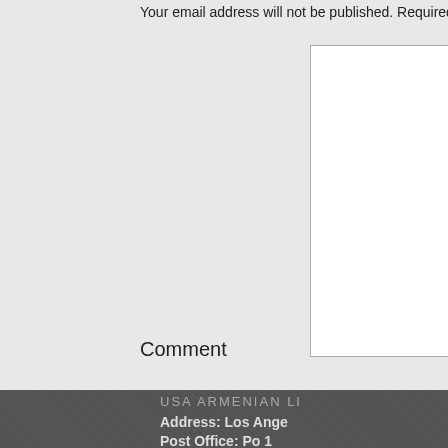Your email address will not be published. Required fields a
Comment
Name *
Email *
Website
Post Commen
USA ARMENIAN LI
Address: Los Ange
Post Office: Po 1